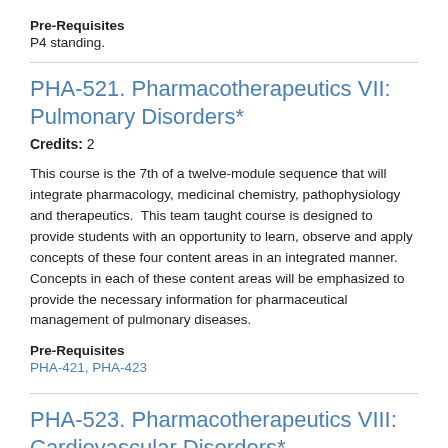Pre-Requisites
P4 standing.
PHA-521. Pharmacotherapeutics VII: Pulmonary Disorders*
Credits: 2
This course is the 7th of a twelve-module sequence that will integrate pharmacology, medicinal chemistry, pathophysiology and therapeutics.  This team taught course is designed to provide students with an opportunity to learn, observe and apply concepts of these four content areas in an integrated manner.  Concepts in each of these content areas will be emphasized to provide the necessary information for pharmaceutical management of pulmonary diseases.
Pre-Requisites
PHA-421, PHA-423
PHA-523. Pharmacotherapeutics VIII: Cardiovascular Disorders*